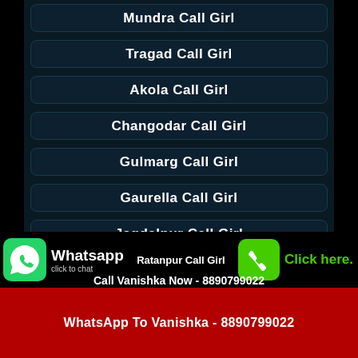Mundra Call Girl
Tragad Call Girl
Akola Call Girl
Changodar Call Girl
Gulmarg Call Girl
Gaurella Call Girl
Jagdalpur Call Girl
Ratanpur Call Girl
Whatsapp click to chat
Call Vanishka Now - 8890799022
Click here.
WhatsApp To Vanishka - 8890799022